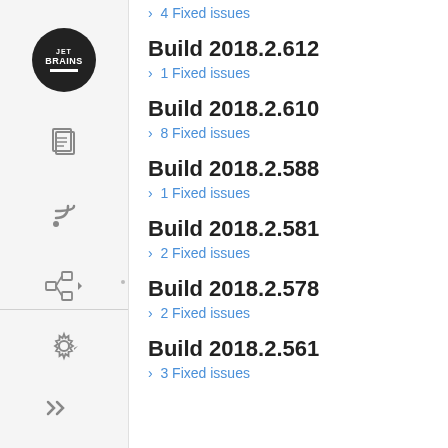4 Fixed issues
Build 2018.2.612
1 Fixed issues
Build 2018.2.610
8 Fixed issues
Build 2018.2.588
1 Fixed issues
Build 2018.2.581
2 Fixed issues
Build 2018.2.578
2 Fixed issues
Build 2018.2.561
3 Fixed issues